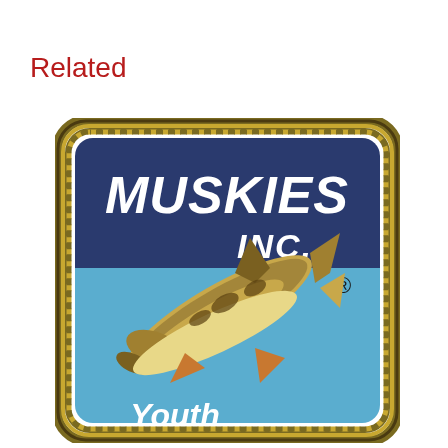Related
[Figure (logo): Muskies Inc. logo patch — a square patch with rounded corners and a braided gold/olive border, dark blue upper background with white bold italic 'MUSKIES INC.' text and registered trademark symbol, light blue lower background showing a jumping muskie fish illustration, and white 'Youth' text at the bottom.]